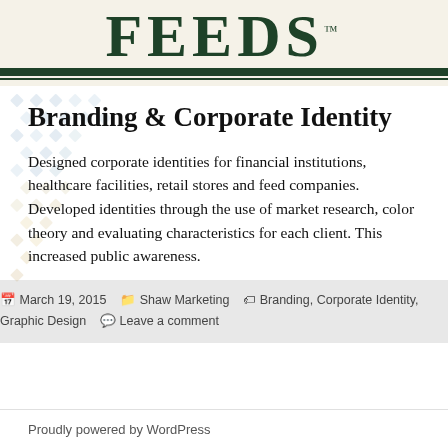FEEDS™
Branding & Corporate Identity
Designed corporate identities for financial institutions, healthcare facilities, retail stores and feed companies. Developed identities through the use of market research, color theory and evaluating characteristics for each client. This increased public awareness.
March 19, 2015   Shaw Marketing   Branding, Corporate Identity, Graphic Design   Leave a comment
Proudly powered by WordPress